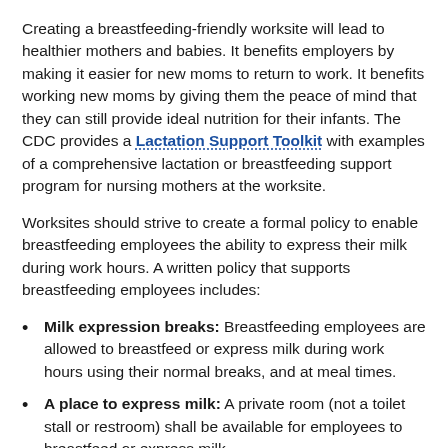Creating a breastfeeding-friendly worksite will lead to healthier mothers and babies. It benefits employers by making it easier for new moms to return to work. It benefits working new moms by giving them the peace of mind that they can still provide ideal nutrition for their infants. The CDC provides a Lactation Support Toolkit with examples of a comprehensive lactation or breastfeeding support program for nursing mothers at the worksite.
Worksites should strive to create a formal policy to enable breastfeeding employees the ability to express their milk during work hours. A written policy that supports breastfeeding employees includes:
Milk expression breaks: Breastfeeding employees are allowed to breastfeed or express milk during work hours using their normal breaks, and at meal times.
A place to express milk: A private room (not a toilet stall or restroom) shall be available for employees to breastfeed or express milk.